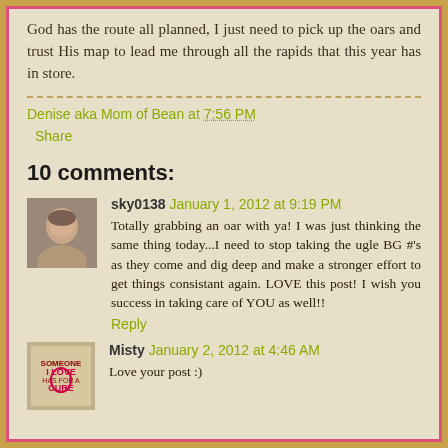God has the route all planned, I just need to pick up the oars and trust His map to lead me through all the rapids that this year has in store.
Denise aka Mom of Bean at 7:56 PM
Share
10 comments:
sky0138 January 1, 2012 at 9:19 PM
Totally grabbing an oar with ya! I was just thinking the same thing today...I need to stop taking the ugle BG #'s as they come and dig deep and make a stronger effort to get things consistant again. LOVE this post! I wish you success in taking care of YOU as well!!
Reply
Misty January 2, 2012 at 4:46 AM
Love your post :)